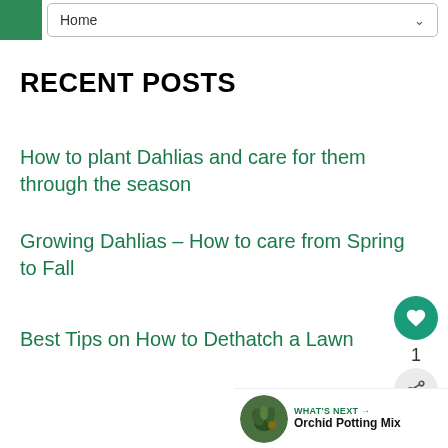Home
RECENT POSTS
How to plant Dahlias and care for them through the season
Growing Dahlias – How to care from Spring to Fall
Best Tips on How to Dethatch a Lawn
WHAT'S NEXT → Orchid Potting Mix